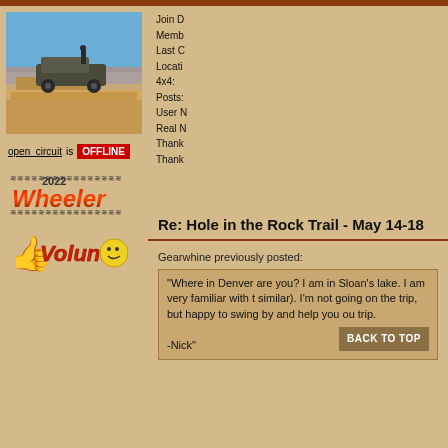[Figure (photo): Jeep 4x4 vehicle parked on edge of rock cliff with desert canyon landscape in background, person standing on vehicle]
open_circuit is OFFLINE
[Figure (illustration): 2022 Wheeler badge with decorative text]
[Figure (illustration): Volunteer badge with thumbs up icon and smiley face]
Join D
Memb
Last C
Locati
4x4:
Posts:
User N
Real N
Thank
Thank
Re: Hole in the Rock Trail - May 14-18
Gearwhine previously posted:
"Where in Denver are you? I am in Sloan's lake. I am very familiar with t similar). I'm not going on the trip, but happy to swing by and help you ou trip.

-Nick"